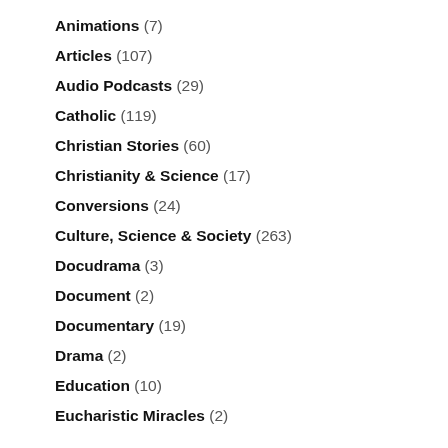Animations (7)
Articles (107)
Audio Podcasts (29)
Catholic (119)
Christian Stories (60)
Christianity & Science (17)
Conversions (24)
Culture, Science & Society (263)
Docudrama (3)
Document (2)
Documentary (19)
Drama (2)
Education (10)
Eucharistic Miracles (2)